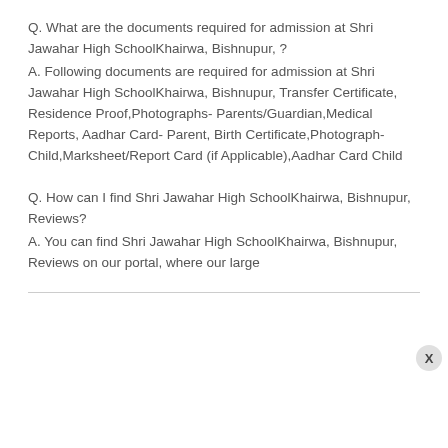Q. What are the documents required for admission at Shri Jawahar High SchoolKhairwa, Bishnupur, ?
A. Following documents are required for admission at Shri Jawahar High SchoolKhairwa, Bishnupur, Transfer Certificate, Residence Proof,Photographs- Parents/Guardian,Medical Reports, Aadhar Card- Parent, Birth Certificate,Photograph- Child,Marksheet/Report Card (if Applicable),Aadhar Card Child
Q. How can I find Shri Jawahar High SchoolKhairwa, Bishnupur, Reviews?
A. You can find Shri Jawahar High SchoolKhairwa, Bishnupur, Reviews on our portal, where our large